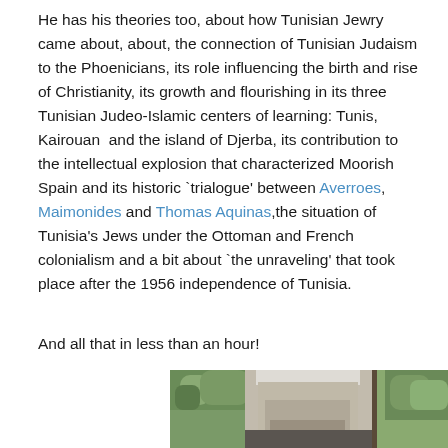He has his theories too, about how Tunisian Jewry came about, about, the connection of Tunisian Judaism to the Phoenicians, its role influencing the birth and rise of Christianity, its growth and flourishing in its three Tunisian Judeo-Islamic centers of learning: Tunis, Kairouan  and the island of Djerba, its contribution to the intellectual explosion that characterized Moorish Spain and its historic `trialogue' between Averroes, Maimonides and Thomas Aquinas,the situation of Tunisia's Jews under the Ottoman and French colonialism and a bit about `the unraveling' that took place after the 1956 independence of Tunisia.
And all that in less than an hour!
[Figure (photo): Photograph of an older man with white/grey hair, partially visible, seated outdoors with green foliage visible in the background]